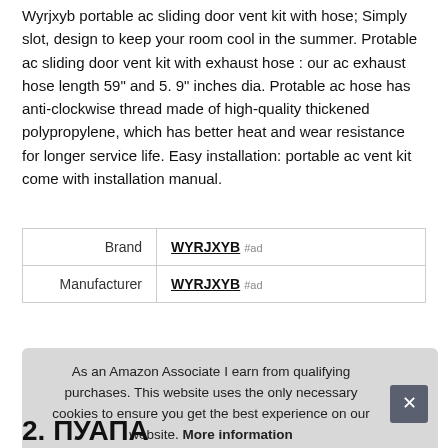Wyrjxyb portable ac sliding door vent kit with hose; Simply slot, design to keep your room cool in the summer. Protable ac sliding door vent kit with exhaust hose : our ac exhaust hose length 59" and 5. 9" inches dia. Protable ac hose has anti-clockwise thread made of high-quality thickened polypropylene, which has better heat and wear resistance for longer service life. Easy installation: portable ac vent kit come with installation manual.
|  |  |
| --- | --- |
| Brand | WYRJXYB #ad |
| Manufacturer | WYRJXYB #ad |
As an Amazon Associate I earn from qualifying purchases. This website uses the only necessary cookies to ensure you get the best experience on our website. More information
2. ПУАПА